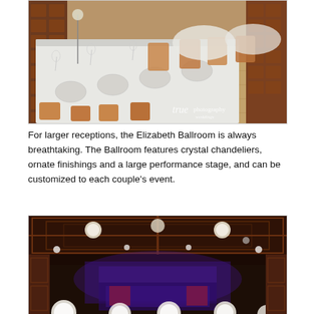[Figure (photo): Elegantly set dining room with long banquet table covered in white linen, glassware, candelabras, and orange/tan upholstered chairs. Tiled floor visible. Watermark reads 'true photography weddings'.]
For larger receptions, the Elizabeth Ballroom is always breathtaking. The Ballroom features crystal chandeliers, ornate finishings and a large performance stage, and can be customized to each couple’s event.
[Figure (photo): Interior of an ornate ballroom with coffered ceiling, recessed lighting, blue and purple stage lighting, and floral centerpieces visible at the bottom of the frame.]